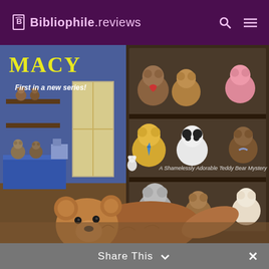Bibliophile.reviews
[Figure (illustration): Book cover illustration showing 'A Shamelessly Adorable Teddy Bear Mystery' by Macy. Features teddy bears on shelves in a shop, and a large brown teddy bear lying face-down in the foreground on a wooden floor. Text on cover: 'MACY', 'First in a new series!', 'A Shamelessly Adorable Teddy Bear Mystery'.]
Share This